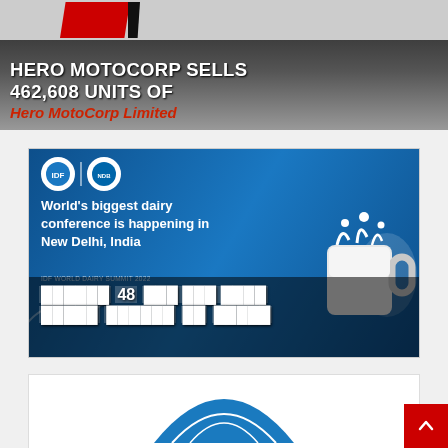[Figure (photo): Hero MotoCorp brand banner with red logo shapes on dark gray/black gradient background, showing text 'HERO MOTOCORP SELLS 462,608 UNITS OF' in white bold uppercase and 'Hero MotoCorp Limited' in red italic below]
[Figure (photo): Blue banner for IDF World Dairy Summit 2022 with logos, text 'World's biggest dairy conference is happening in New Delhi, India', milk splash and mug graphic, with overlay text about the summit featuring number 48]
[Figure (photo): Partial blue umbrella/logo graphic at bottom of page]